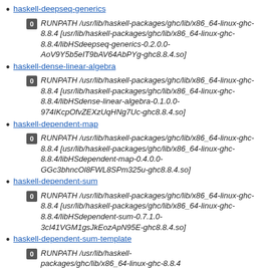haskell-deepseq-generics
0 RUNPATH /usr/lib/haskell-packages/ghc/lib/x86_64-linux-ghc-8.8.4 [usr/lib/haskell-packages/ghc/lib/x86_64-linux-ghc-8.8.4/libHSdeepseq-generics-0.2.0.0-AoV9Y5b5eIT9bAV64AbPYg-ghc8.8.4.so]
haskell-dense-linear-algebra
0 RUNPATH /usr/lib/haskell-packages/ghc/lib/x86_64-linux-ghc-8.8.4 [usr/lib/haskell-packages/ghc/lib/x86_64-linux-ghc-8.8.4/libHSdense-linear-algebra-0.1.0.0-974IKcpOfvZEXzUqHNg7Uc-ghc8.8.4.so]
haskell-dependent-map
0 RUNPATH /usr/lib/haskell-packages/ghc/lib/x86_64-linux-ghc-8.8.4 [usr/lib/haskell-packages/ghc/lib/x86_64-linux-ghc-8.8.4/libHSdependent-map-0.4.0.0-GGc3bhncOl8FWL8SPm325u-ghc8.8.4.so]
haskell-dependent-sum
0 RUNPATH /usr/lib/haskell-packages/ghc/lib/x86_64-linux-ghc-8.8.4 [usr/lib/haskell-packages/ghc/lib/x86_64-linux-ghc-8.8.4/libHSdependent-sum-0.7.1.0-3cI41VGM1gsJkEozApN95E-ghc8.8.4.so]
haskell-dependent-sum-template
0 RUNPATH /usr/lib/haskell-packages/ghc/lib/x86_64-linux-ghc-8.8.4 [usr/lib/haskell-packages/ghc/lib/x86_64-linux-ghc-8.8.4/...